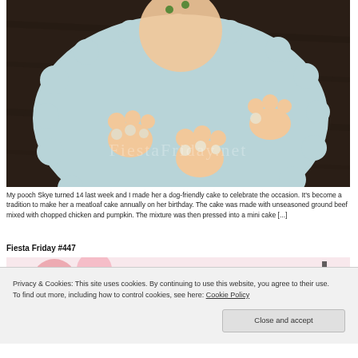[Figure (photo): Overhead view of a light blue scalloped plate on a dark wood surface. On the plate sit several paw-shaped dog treats/meatloaf decorations with small green and white round candies. A larger round dog cake is visible at the top. A watermark reads 'FiestaFriday.net'.]
My pooch Skye turned 14 last week and I made her a dog-friendly cake to celebrate the occasion. It's become a tradition to make her a meatloaf cake annually on her birthday. The cake was made with unseasoned ground beef mixed with chopped chicken and pumpkin. The mixture was then pressed into a mini cake [...]
Fiesta Friday #447
[Figure (photo): Partial view of a floral-themed image, mostly cut off by the cookie consent bar.]
Privacy & Cookies: This site uses cookies. By continuing to use this website, you agree to their use.
To find out more, including how to control cookies, see here: Cookie Policy
Close and accept